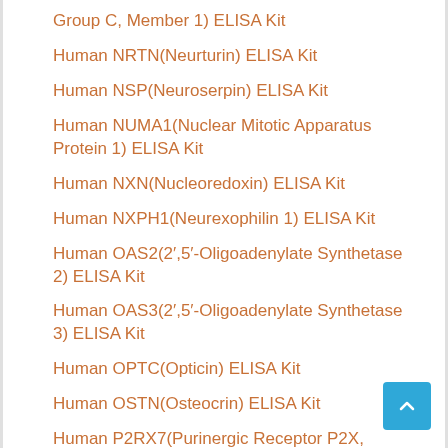Group C, Member 1) ELISA Kit
Human NRTN(Neurturin) ELISA Kit
Human NSP(Neuroserpin) ELISA Kit
Human NUMA1(Nuclear Mitotic Apparatus Protein 1) ELISA Kit
Human NXN(Nucleoredoxin) ELISA Kit
Human NXPH1(Neurexophilin 1) ELISA Kit
Human OAS2(2',5'-Oligoadenylate Synthetase 2) ELISA Kit
Human OAS3(2',5'-Oligoadenylate Synthetase 3) ELISA Kit
Human OPTC(Opticin) ELISA Kit
Human OSTN(Osteocrin) ELISA Kit
Human P2RX7(Purinergic Receptor P2X, Ligand